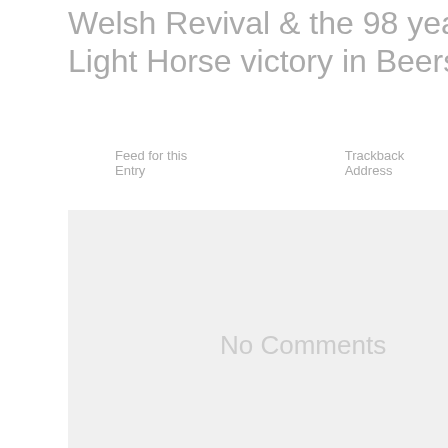Welsh Revival & the 98 year anniversary Light Horse victory in Beersheba, Israel
Feed for this Entry    Trackback Address
No Comments
Leave a Reply
Name
Mail (will not be published)
Website